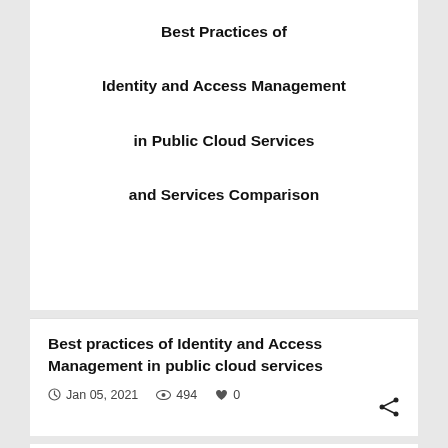Best Practices of Identity and Access Management in Public Cloud Services and Services Comparison
Best practices of Identity and Access Management in public cloud services
Jan 05, 2021  494  0